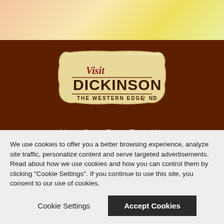[Figure (logo): Visit Dickinson – The Western Edge of ND logo on a parchment-style badge background]
NORTH Dakota
We use cookies to offer you a better browsing experience, analyze site traffic, personalize content and serve targeted advertisements. Read about how we use cookies and how you can control them by clicking "Cookie Settings". If you continue to use this site, you consent to our use of cookies.
Cookie Settings
Accept Cookies